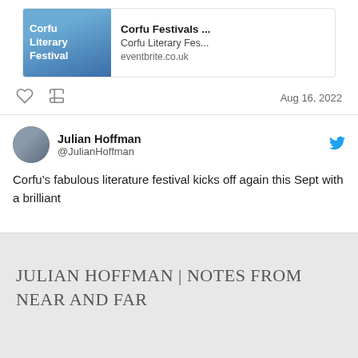[Figure (screenshot): Link card showing Corfu Festivals with image of Corfu Literary Festival on left, title 'Corfu Festivals ...', subtitle 'Corfu Literary Fes...', URL 'eventbrite.co.uk']
Aug 16, 2022
Julian Hoffman @JulianHoffman
Corfu's fabulous literature festival kicks off again this Sept with a brilliant
JULIAN HOFFMAN | NOTES FROM NEAR AND FAR